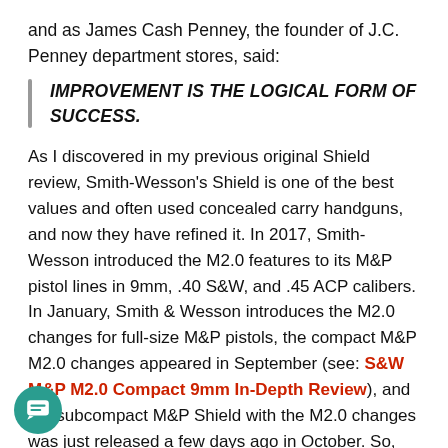and as James Cash Penney, the founder of J.C. Penney department stores, said:
IMPROVEMENT IS THE LOGICAL FORM OF SUCCESS.
As I discovered in my previous original Shield review, Smith-Wesson's Shield is one of the best values and often used concealed carry handguns, and now they have refined it. In 2017, Smith-Wesson introduced the M2.0 features to its M&P pistol lines in 9mm, .40 S&W, and .45 ACP calibers. In January, Smith & Wesson introduces the M2.0 changes for full-size M&P pistols, the compact M&P M2.0 changes appeared in September (see: S&W M&P M2.0 Compact 9mm In-Depth Review), and the subcompact M&P Shield with the M2.0 changes was just released a few days ago in October. So, what are the unique M2.0 improvements to the already-successful M&P subcompact striker-fired Shield? Will the new features and changes help with concealed